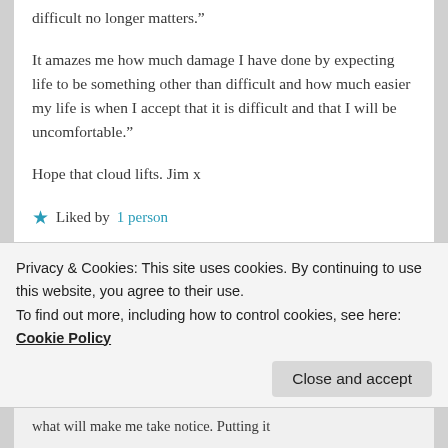difficult no longer matters.”
It amazes me how much damage I have done by expecting life to be something other than difficult and how much easier my life is when I accept that it is difficult and that I will be uncomfortable.”
Hope that cloud lifts. Jim x
★ Liked by 1 person
Log in to Reply
jimstriste
Privacy & Cookies: This site uses cookies. By continuing to use this website, you agree to their use.
To find out more, including how to control cookies, see here: Cookie Policy
Close and accept
what will make me take notice. Putting it